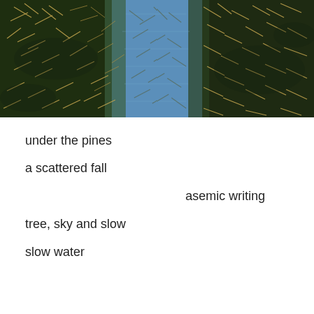[Figure (photo): A photograph of pine needles falling or floating densely, with a bluish sky or water reflection visible in the center background, dark green foliage filling most of the frame.]
under the pines
a scattered fall
asemic writing
tree, sky and slow
slow water